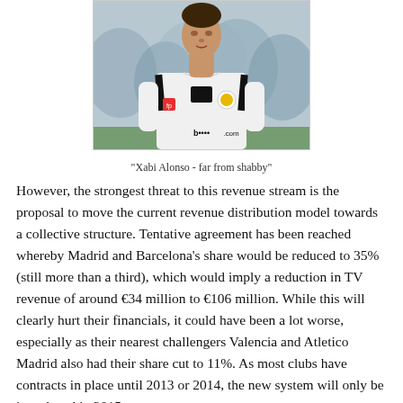[Figure (photo): A footballer wearing a white Real Madrid jersey with Adidas stripes, photographed from the front against a blurred crowd background. The player appears to be Sergio Ramos.]
"Xabi Alonso - far from shabby"
However, the strongest threat to this revenue stream is the proposal to move the current revenue distribution model towards a collective structure. Tentative agreement has been reached whereby Madrid and Barcelona's share would be reduced to 35% (still more than a third), which would imply a reduction in TV revenue of around €34 million to €106 million. While this will clearly hurt their financials, it could have been a lot worse, especially as their nearest challengers Valencia and Atletico Madrid also had their share cut to 11%. As most clubs have contracts in place until 2013 or 2014, the new system will only be introduced in 2015.
There is a feeling that this might not be the end of the story, as two clubs have still not signed the deal: Villarreal and Sevilla. Although Madrid and Barcelona are by some distance the most popular clubs in Spain, it is equally true that there